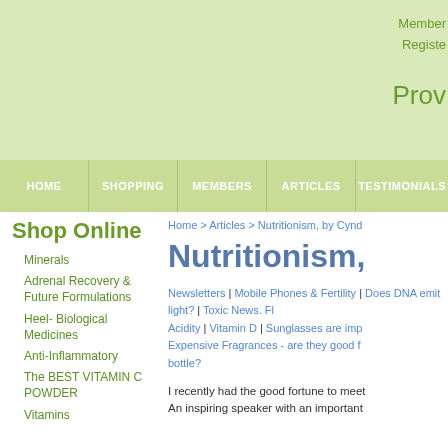Member
Registe
Prov
HOME | SHOPPING | MEMBERS | ARTICLES | TESTIMONIALS
Shop Online
Minerals
Adrenal Recovery & Future Formulations
Heel- Biological Medicines
Anti-Inflammatory
The BEST VITAMIN C POWDER
Vitamins
Home > Articles > Nutritionism, by Cynd
Nutritionism,
Newsletters | Mobile Phones & Fertility | Does DNA emit light? | Toxic News. Fl Acidity | Vitamin D | Sunglasses are imp Expensive Fragrances - are they good f bottle?
I recently had the good fortune to meet An inspiring speaker with an important